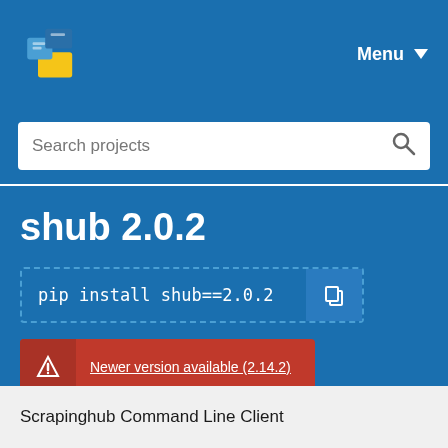[Figure (logo): PyPI logo - colorful box/cube icon]
Menu ▼
Search projects
shub 2.0.2
pip install shub==2.0.2
Newer version available (2.14.2)
Released: Mar 1, 2016
Scrapinghub Command Line Client